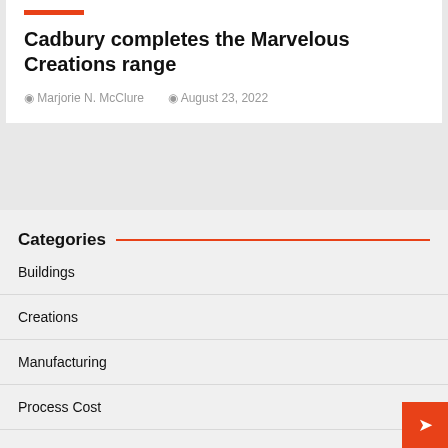Cadbury completes the Marvelous Creations range
Marjorie N. McClure   August 23, 2022
Categories
Buildings
Creations
Manufacturing
Process Cost